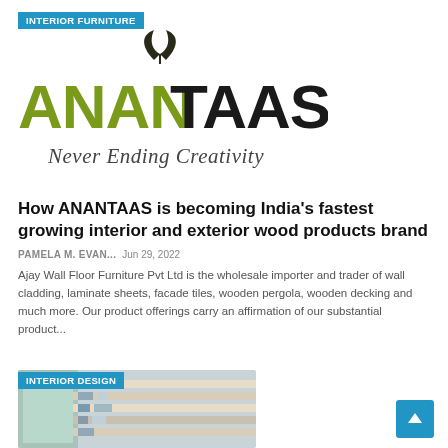INTERIOR FURNITURE
[Figure (logo): ANANTAAS logo with leaf icon above, green and black lettering, cursive tagline 'Never Ending Creativity' below]
How ANANTAAS is becoming India's fastest growing interior and exterior wood products brand
PAMELA M. EVAN...   Jun 29, 2022
Ajay Wall Floor Furniture Pvt Ltd is the wholesale importer and trader of wall cladding, laminate sheets, facade tiles, wooden pergola, wooden decking and much more. Our product offerings carry an affirmation of our substantial product...
[Figure (photo): Interior design showroom with shelving units displaying panels and materials]
INTERIOR DESIGN